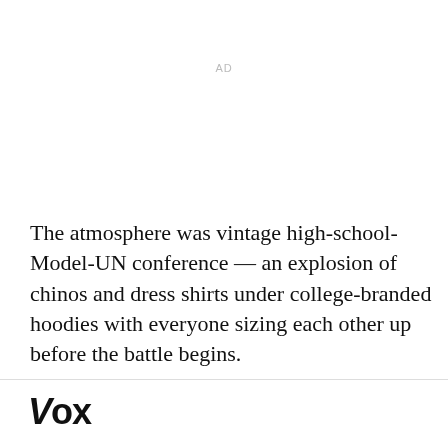AD
The atmosphere was vintage high-school-Model-UN conference — an explosion of chinos and dress shirts under college-branded hoodies with everyone sizing each other up before the battle begins.
Vox